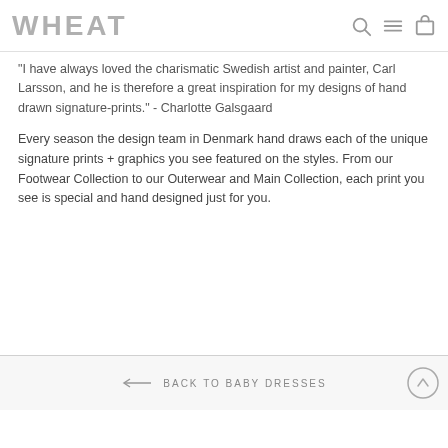WHEAT
"I have always loved the charismatic Swedish artist and painter, Carl Larsson, and he is therefore a great inspiration for my designs of hand drawn signature-prints." - Charlotte Galsgaard
Every season the design team in Denmark hand draws each of the unique signature prints + graphics you see featured on the styles. From our Footwear Collection to our Outerwear and Main Collection, each print you see is special and hand designed just for you.
BACK TO BABY DRESSES